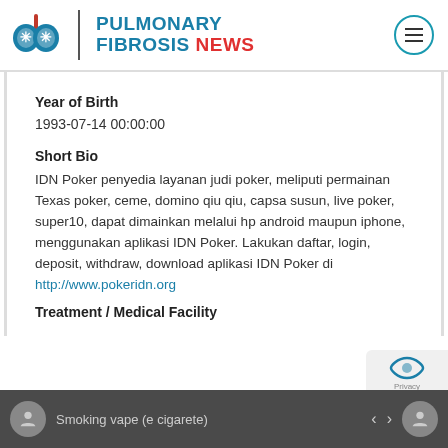[Figure (logo): Pulmonary Fibrosis News logo with lungs icon, vertical divider, and site name in teal and red]
Year of Birth
1993-07-14 00:00:00
Short Bio
IDN Poker penyedia layanan judi poker, meliputi permainan Texas poker, ceme, domino qiu qiu, capsa susun, live poker, super10, dapat dimainkan melalui hp android maupun iphone, menggunakan aplikasi IDN Poker. Lakukan daftar, login, deposit, withdraw, download aplikasi IDN Poker di http://www.pokeridn.org
Treatment / Medical Facility
Smoking vape (e cigarete)
< >